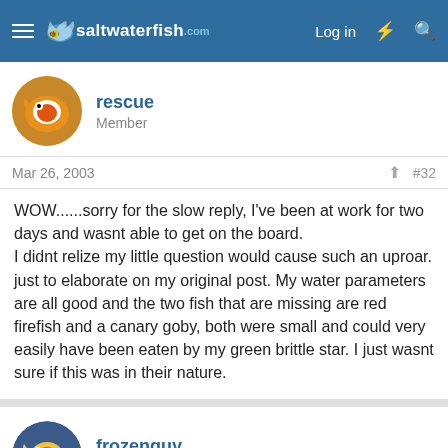saltwaterfish — Log in
rescue
Member
Mar 26, 2003  #32
WOW......sorry for the slow reply, I've been at work for two days and wasnt able to get on the board.
I didnt relize my little question would cause such an uproar. just to elaborate on my original post. My water parameters are all good and the two fish that are missing are red firefish and a canary goby, both were small and could very easily have been eaten by my green brittle star. I just wasnt sure if this was in their nature.
frozenguy
Member
Mar 26, 2003  #33